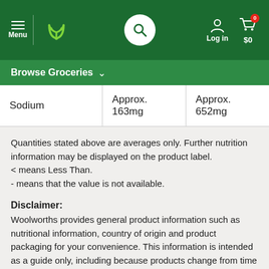Menu | Woolworths | Search | Log in | $0
Browse Groceries
|  |  |  |
| --- | --- | --- |
| Sodium | Approx. 163mg | Approx. 652mg |
Quantities stated above are averages only. Further nutrition information may be displayed on the product label.
< means Less Than.
- means that the value is not available.
Disclaimer:
Woolworths provides general product information such as nutritional information, country of origin and product packaging for your convenience. This information is intended as a guide only, including because products change from time to time. Please read product labels before consuming. For therapeutic goods, always read the label and follow the directions for use on pack. If you require specific information to assist with your purchasing decision, we recommend that you contact the manufacturer via the contact details on the packaging or call us on 1300 767 969. Product ratings and